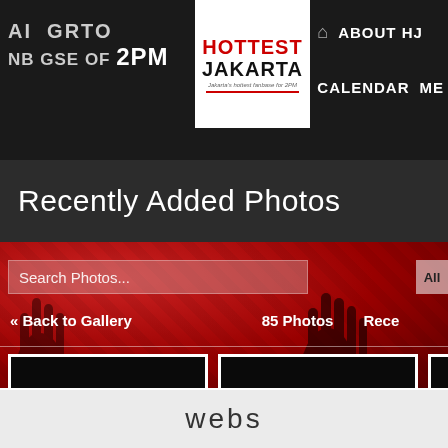AI GRTO - NB GSE OF 2PM
[Figure (logo): Hottest Jakarta logo — red HOTTEST text above black JAKARTA text with tagline]
ABOUT HJ
CALENDAR  ME
Recently Added Photos
[Figure (screenshot): Red background with silhouette of hands reaching up, search bar reading 'Search Photos...', All button, navigation with Back to Gallery, 85 Photos, Rece links, and two black photo thumbnails]
webs